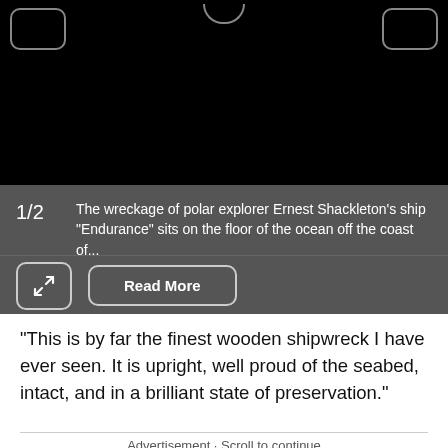[Figure (photo): Black image panel showing navigation buttons and a dark photo viewer with left/right nav buttons and a bottom caption bar showing image 1/2 with text about Shackleton's Endurance shipwreck]
The wreckage of polar explorer Ernest Shackleton's ship "Endurance" sits on the floor of the ocean off the coast of...
"This is by far the finest wooden shipwreck I have ever seen. It is upright, well proud of the seabed, intact, and in a brilliant state of preservation."
Advertisement · Scroll to continue